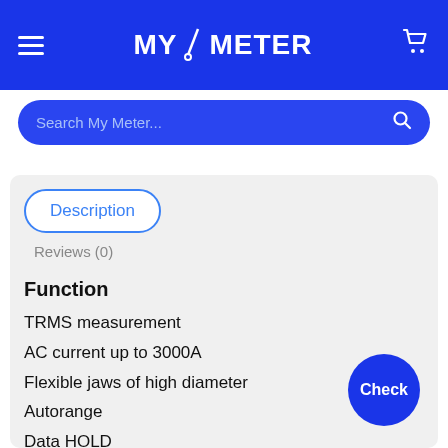MY/METER
Search My Meter...
Description
Reviews (0)
Function
TRMS measurement
AC current up to 3000A
Flexible jaws of high diameter
Autorange
Data HOLD
Backlight
Check